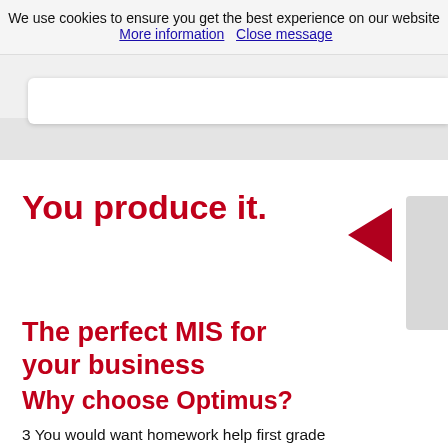We use cookies to ensure you get the best experience on our website  More information    Close message
You produce it.
The perfect MIS for your business
Why choose Optimus?
3 You would want homework help first grade someone to help homework help first grade you out in this situation by either completing half the work and you